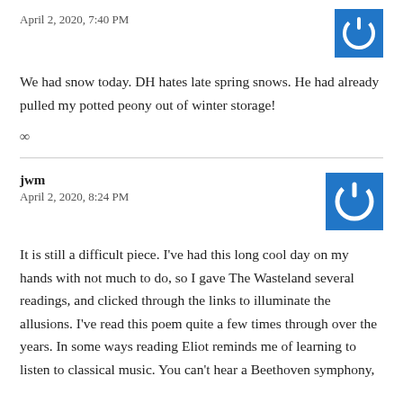April 2, 2020, 7:40 PM
[Figure (logo): Blue square avatar with white power button icon]
We had snow today. DH hates late spring snows. He had already pulled my potted peony out of winter storage!
∞
jwm
April 2, 2020, 8:24 PM
[Figure (logo): Blue square avatar with white power button icon]
It is still a difficult piece. I've had this long cool day on my hands with not much to do, so I gave The Wasteland several readings, and clicked through the links to illuminate the allusions. I've read this poem quite a few times through over the years. In some ways reading Eliot reminds me of learning to listen to classical music. You can't hear a Beethoven symphony,